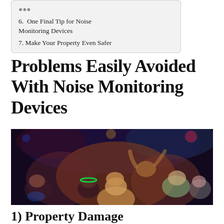6. One Final Tip for Noise Monitoring Devices
7. Make Your Property Even Safer
Problems Easily Avoided With Noise Monitoring Devices
[Figure (photo): Crowd of young people dancing at a dark nightclub or party, with colorful lighting and a person wearing a green LED hat in the foreground]
1) Property Damage